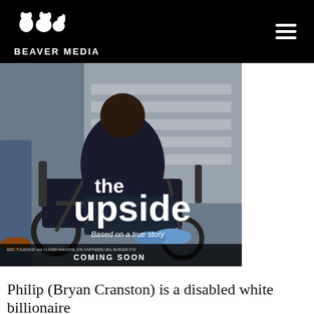BEAVER MEDIA
[Figure (photo): Movie poster for 'The Upside' showing a person in a wheelchair on a city street. Text reads: 'the upside', 'Based on a true story', 'COMING SOON', credits including Eric Toledano and Olivier Nakache, Jon Hartmere, Neil Burger, STX.]
Philip (Bryan Cranston) is a disabled white billionaire